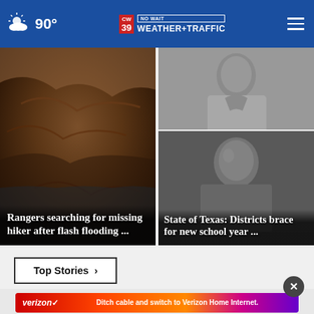90° CW39 NO WAIT WEATHER+TRAFFIC
[Figure (photo): Rocky canyon with flash flood imagery, left news card]
Rangers searching for missing hiker after flash flooding ...
[Figure (photo): Black and white photo of a man in a denim shirt, right top news card]
[Figure (photo): Black and white photo of a person, right bottom news card]
State of Texas: Districts brace for new school year ...
Top Stories ›
[Figure (photo): Verizon advertisement: Ditch cable and switch to Verizon Home Internet.]